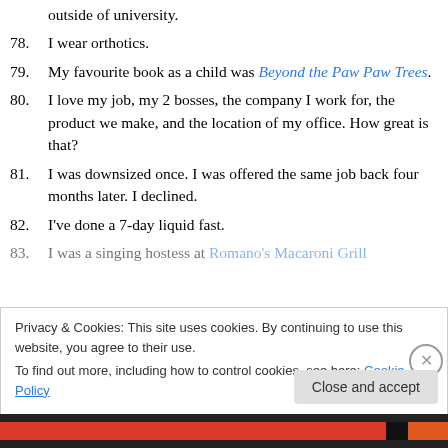outside of university.
78. I wear orthotics.
79. My favourite book as a child was Beyond the Paw Paw Trees.
80. I love my job, my 2 bosses, the company I work for, the product we make, and the location of my office. How great is that?
81. I was downsized once. I was offered the same job back four months later. I declined.
82. I've done a 7-day liquid fast.
83. I was a singing hostess at Romano's Macaroni Grill
Privacy & Cookies: This site uses cookies. By continuing to use this website, you agree to their use. To find out more, including how to control cookies, see here: Cookie Policy
Close and accept